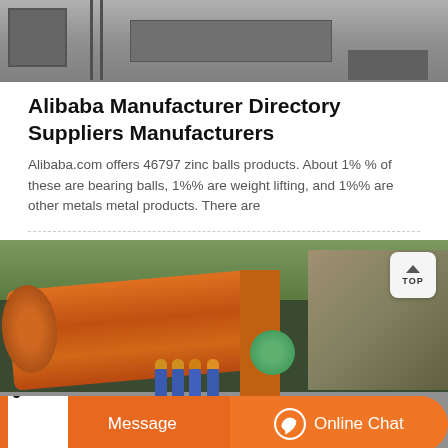[Figure (photo): Top portion of industrial/manufacturing equipment, grayscale, partial view]
Alibaba Manufacturer Directory Suppliers Manufacturers
Alibaba.com offers 46797 zinc balls products. About 1% % of these are bearing balls, 1%% are weight lifting, and 1%% are other metals metal products. There are
[Figure (photo): Large orange industrial ball mill machine at a mining/processing site with workers in blue uniforms and hard hats in the background. Green motor visible. TOP navigation button in upper right corner.]
[Figure (infographic): Bottom bar with chat agent photo, orange Message button and Online Chat button with headset icon]